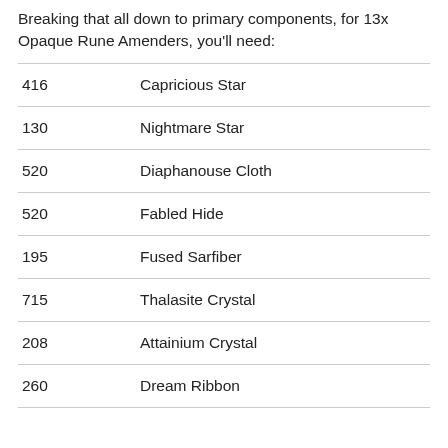Breaking that all down to primary components, for 13x Opaque Rune Amenders, you'll need:
| Quantity | Item |
| --- | --- |
| 416 | Capricious Star |
| 130 | Nightmare Star |
| 520 | Diaphanouse Cloth |
| 520 | Fabled Hide |
| 195 | Fused Sarfiber |
| 715 | Thalasite Crystal |
| 208 | Attainium Crystal |
| 260 | Dream Ribbon |